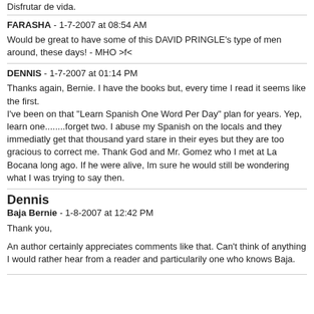Disfrutar de vida.
FARASHA - 1-7-2007 at 08:54 AM
Would be great to have some of this DAVID PRINGLE's type of men around, these days! - MHO >f<
DENNIS - 1-7-2007 at 01:14 PM
Thanks again, Bernie. I have the books but, every time I read it seems like the first.
I've been on that "Learn Spanish One Word Per Day" plan for years. Yep, learn one........forget two. I abuse my Spanish on the locals and they immediatly get that thousand yard stare in their eyes but they are too gracious to correct me. Thank God and Mr. Gomez who I met at La Bocana long ago. If he were alive, Im sure he would still be wondering what I was trying to say then.
Dennis
Baja Bernie - 1-8-2007 at 12:42 PM
Thank you,
An author certainly appreciates comments like that. Can't think of anything I would rather hear from a reader and particularily one who knows Baja.